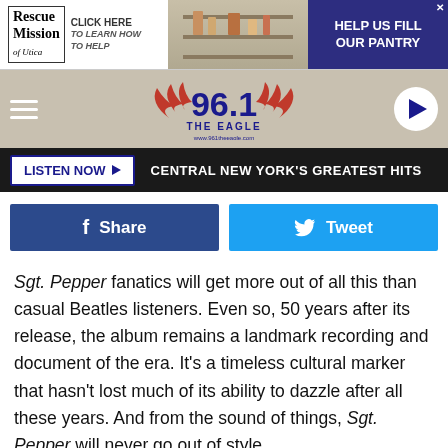[Figure (screenshot): Rescue Mission of Utica advertisement banner: 'Click here to learn how to help' and 'Help us fill our pantry' with a shelf image]
[Figure (logo): 96.1 The Eagle radio station logo with red wings, navigation hamburger menu, and play button]
[Figure (screenshot): Listen Now button with tagline 'Central New York's Greatest Hits' on dark background]
[Figure (screenshot): Facebook Share button (blue) and Twitter Tweet button (cyan) social media sharing buttons]
Sgt. Pepper fanatics will get more out of all this than casual Beatles listeners. Even so, 50 years after its release, the album remains a landmark recording and document of the era. It's a timeless cultural marker that hasn't lost much of its ability to dazzle after all these years. And from the sound of things, Sgt. Pepper will never go out of style.
42 Awesome Takes on the Beatles' 'Sgt. Pepper's' Album Cover Art